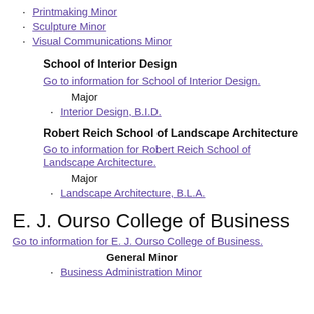Printmaking Minor
Sculpture Minor
Visual Communications Minor
School of Interior Design
Go to information for School of Interior Design.
Major
Interior Design, B.I.D.
Robert Reich School of Landscape Architecture
Go to information for Robert Reich School of Landscape Architecture.
Major
Landscape Architecture, B.L.A.
E. J. Ourso College of Business
Go to information for E. J. Ourso College of Business.
General Minor
Business Administration Minor